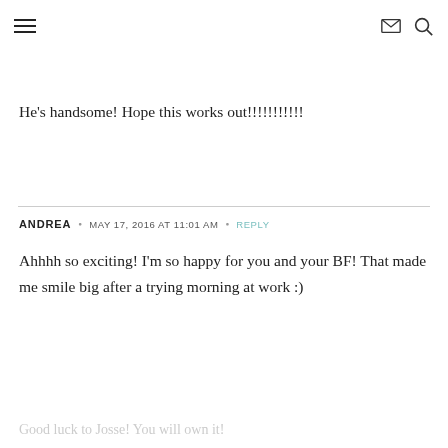≡  ✉  🔍
He's handsome! Hope this works out!!!!!!!!!!!
ANDREA • MAY 17, 2016 AT 11:01 AM • REPLY
Ahhhh so exciting! I'm so happy for you and your BF! That made me smile big after a trying morning at work :)
Good luck to Josse! You will own it!